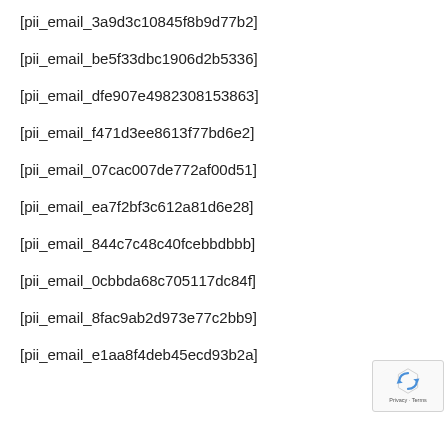[pii_email_3a9d3c10845f8b9d77b2]
[pii_email_be5f33dbc1906d2b5336]
[pii_email_dfe907e4982308153863]
[pii_email_f471d3ee8613f77bd6e2]
[pii_email_07cac007de772af00d51]
[pii_email_ea7f2bf3c612a81d6e28]
[pii_email_844c7c48c40fcebbdbbb]
[pii_email_0cbbda68c705117dc84f]
[pii_email_8fac9ab2d973e77c2bb9]
[pii_email_e1aa8f4deb45ecd93b2a]